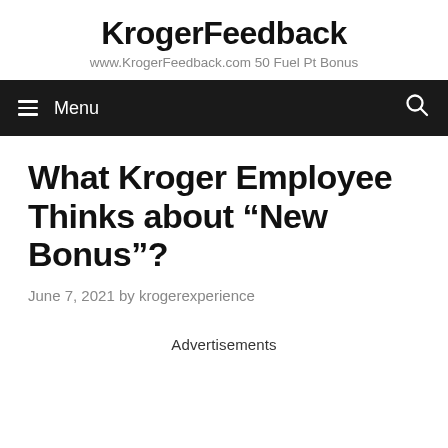KrogerFeedback
www.KrogerFeedback.com 50 Fuel Pt Bonus
What Kroger Employee Thinks about “New Bonus”?
June 7, 2021 by krogerexperience
Advertisements